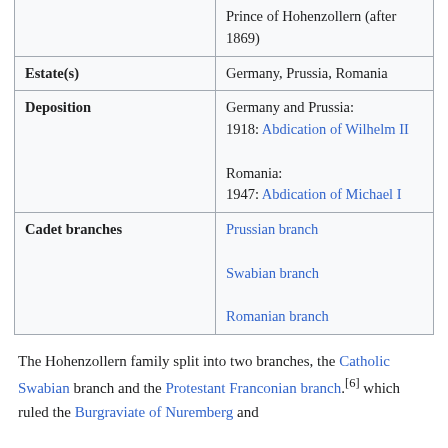|  | Prince of Hohenzollern (after 1869) |
| Estate(s) | Germany, Prussia, Romania |
| Deposition | Germany and Prussia:
1918: Abdication of Wilhelm II

Romania:
1947: Abdication of Michael I |
| Cadet branches | Prussian branch

Swabian branch

Romanian branch |
The Hohenzollern family split into two branches, the Catholic Swabian branch and the Protestant Franconian branch,[6] which ruled the Burgraviate of Nuremberg and